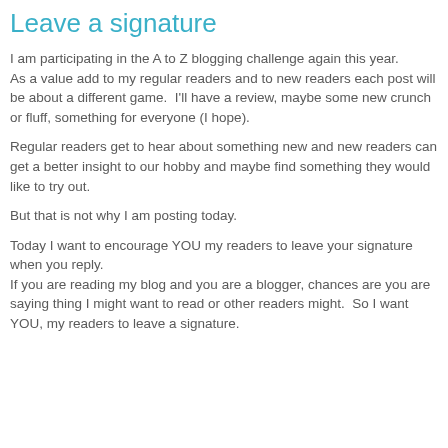Leave a signature
I am participating in the A to Z blogging challenge again this year.
As a value add to my regular readers and to new readers each post will be about a different game.  I'll have a review, maybe some new crunch or fluff, something for everyone (I hope).
Regular readers get to hear about something new and new readers can get a better insight to our hobby and maybe find something they would like to try out.
But that is not why I am posting today.
Today I want to encourage YOU my readers to leave your signature when you reply.
If you are reading my blog and you are a blogger, chances are you are saying thing I might want to read or other readers might.  So I want YOU, my readers to leave a signature.